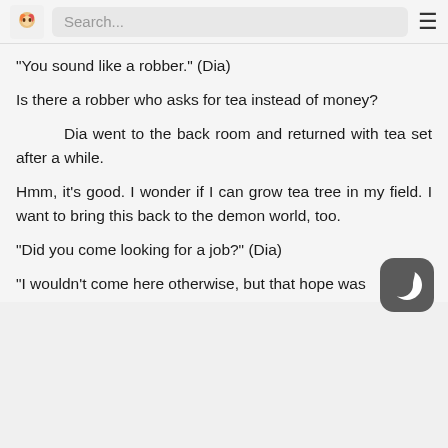Search...
“You sound like a robber.” (Dia)
Is there a robber who asks for tea instead of money?
Dia went to the back room and returned with tea set after a while.
Hmm, it’s good. I wonder if I can grow tea tree in my field. I want to bring this back to the demon world, too.
“Did you come looking for a job?” (Dia)
“I wouldn’t come here otherwise, but that hope was